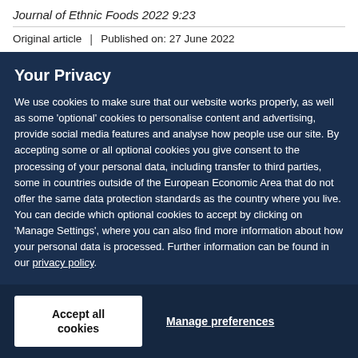Journal of Ethnic Foods 2022 9:23
Original article | Published on: 27 June 2022
Your Privacy
We use cookies to make sure that our website works properly, as well as some 'optional' cookies to personalise content and advertising, provide social media features and analyse how people use our site. By accepting some or all optional cookies you give consent to the processing of your personal data, including transfer to third parties, some in countries outside of the European Economic Area that do not offer the same data protection standards as the country where you live. You can decide which optional cookies to accept by clicking on 'Manage Settings', where you can also find more information about how your personal data is processed. Further information can be found in our privacy policy.
Accept all cookies
Manage preferences